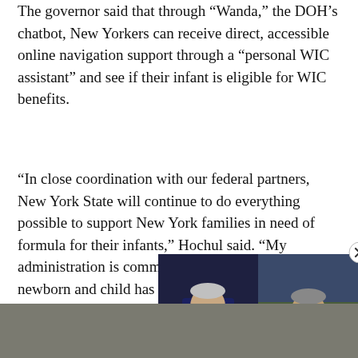The governor said that through "Wanda," the DOH's chatbot, New Yorkers can receive direct, accessible online navigation support through a "personal WIC assistant" and see if their infant is eligible for WIC benefits.
“In close coordination with our federal partners, New York State will continue to do everything possible to support New York families in need of formula for their infants,” Hochul said. “My administration is committed to ensuring every newborn and child has access to the nutrition and support they need to stay h…
[Figure (screenshot): Video overlay showing two news anchors on a dark background, resembling a Wall Street news broadcast. A play button is visible in the center. A close (X) button appears in the top-right corner.]